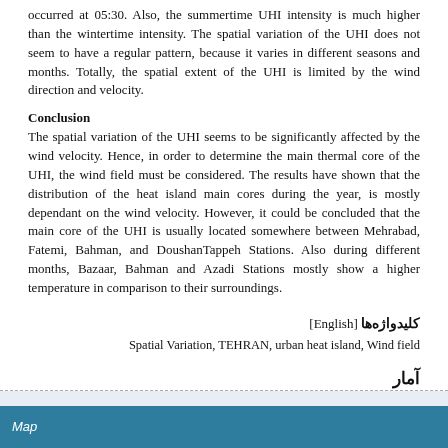occurred at 05:30. Also, the summertime UHI intensity is much higher than the wintertime intensity. The spatial variation of the UHI does not seem to have a regular pattern, because it varies in different seasons and months. Totally, the spatial extent of the UHI is limited by the wind direction and velocity.
Conclusion
The spatial variation of the UHI seems to be significantly affected by the wind velocity. Hence, in order to determine the main thermal core of the UHI, the wind field must be considered. The results have shown that the distribution of the heat island main cores during the year, is mostly dependant on the wind velocity. However, it could be concluded that the main core of the UHI is usually located somewhere between Mehrabad, Fatemi, Bahman, and DoushanTappeh Stations. Also during different months, Bazaar, Bahman and Azadi Stations mostly show a higher temperature in comparison to their surroundings.
کلیدواژه‌ها [English]
Spatial Variation, TEHRAN, urban heat island, Wind field
آمار
تعداد مشاهده مقاله: 2,596
تعداد دریافت فایل اصل مقاله: 1,637
Map